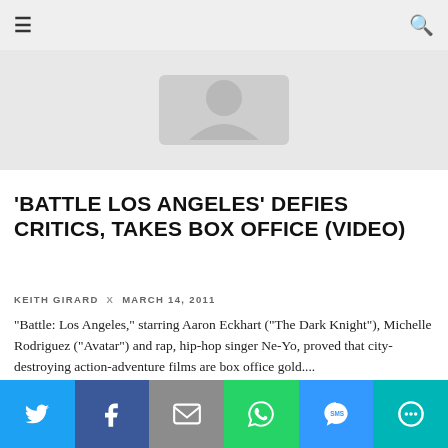≡   🔍
[Figure (photo): Placeholder image thumbnail with grey background and a generic image icon in the center]
'BATTLE LOS ANGELES' DEFIES CRITICS, TAKES BOX OFFICE (VIDEO)
KEITH GIRARD  x  MARCH 14, 2011
"Battle: Los Angeles," starring Aaron Eckhart ("The Dark Knight"), Michelle Rodriguez ("Avatar") and rap, hip-hop singer Ne-Yo, proved that city-destroying action-adventure films are box office gold....
UNCATEGORIZED
[Figure (infographic): Social sharing bar with Twitter, Facebook, Email, WhatsApp, SMS, and More buttons in colored blocks across the bottom]